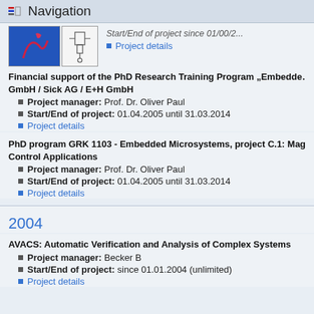Navigation
[Figure (photo): Two small images side by side; left is a blue image with a red/pink graphic element, right is a schematic/diagram image]
Start/End of project since 01/00/2...
Project details
Financial support of the PhD Research Training Program „Embedded... GmbH / Sick AG / E+H GmbH
Project manager: Prof. Dr. Oliver Paul
Start/End of project: 01.04.2005 until 31.03.2014
Project details
PhD program GRK 1103 - Embedded Microsystems, project C.1: Mag... Control Applications
Project manager: Prof. Dr. Oliver Paul
Start/End of project: 01.04.2005 until 31.03.2014
Project details
2004
AVACS: Automatic Verification and Analysis of Complex Systems
Project manager: Becker B
Start/End of project: since 01.01.2004 (unlimited)
Project details